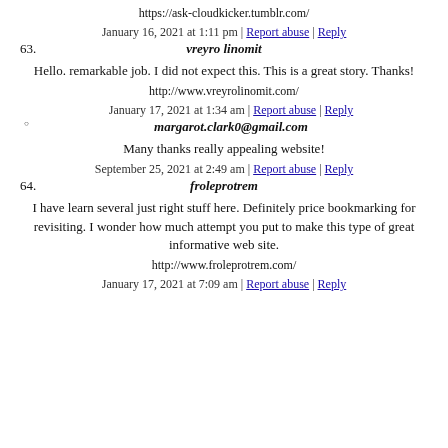https://ask-cloudkicker.tumblr.com/
January 16, 2021 at 1:11 pm | Report abuse | Reply
63. vreyro linomit
Hello. remarkable job. I did not expect this. This is a great story. Thanks!
http://www.vreyrolinomit.com/
January 17, 2021 at 1:34 am | Report abuse | Reply
margarot.clark0@gmail.com
Many thanks really appealing website!
September 25, 2021 at 2:49 am | Report abuse | Reply
64. froleprotrem
I have learn several just right stuff here. Definitely price bookmarking for revisiting. I wonder how much attempt you put to make this type of great informative web site.
http://www.froleprotrem.com/
January 17, 2021 at 7:09 am | Report abuse | Reply